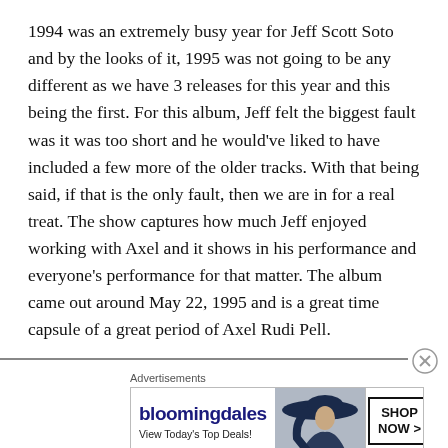1994 was an extremely busy year for Jeff Scott Soto and by the looks of it, 1995 was not going to be any different as we have 3 releases for this year and this being the first. For this album, Jeff felt the biggest fault was it was too short and he would've liked to have included a few more of the older tracks. With that being said, if that is the only fault, then we are in for a real treat. The show captures how much Jeff enjoyed working with Axel and it shows in his performance and everyone's performance for that matter. The album came out around May 22, 1995 and is a great time capsule of a great period of Axel Rudi Pell.
Advertisements
[Figure (other): Bloomingdale's advertisement banner with logo, 'View Today's Top Deals!' text, image of woman in wide-brim hat, and 'SHOP NOW >' button]